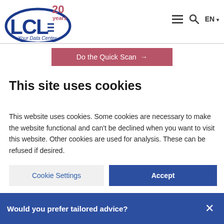[Figure (logo): LCL Your Data Center logo with '20 years' badge]
Do the Quick Scan →
This site uses cookies
This website uses cookies. Some cookies are necessary to make the website functional and can't be declined when you want to visit this website. Other cookies are used for analysis. These can be refused if desired.
Cookie Settings
Accept
Would you prefer tailored advice?